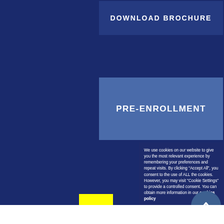DOWNLOAD BROCHURE
PRE-ENROLLMENT
We use cookies on our website to give you the most relevant experience by remembering your preferences and repeat visits. By clicking “Accept All”, you consent to the use of ALL the cookies. However, you may visit "Cookie Settings" to provide a controlled consent. You can obtain more information in our cookies policy .
Settings
Accept all